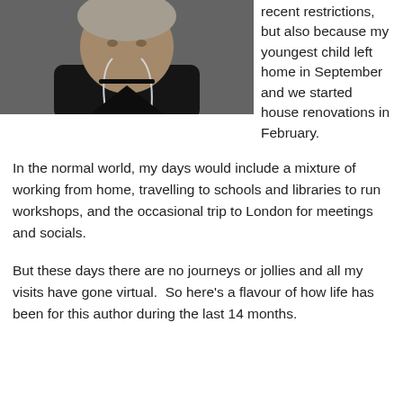[Figure (photo): A person wearing a dark jacket and earphones, looking slightly downward, photographed from chest up with a light background.]
recent restrictions, but also because my youngest child left home in September and we started house renovations in February.
In the normal world, my days would include a mixture of working from home, travelling to schools and libraries to run workshops, and the occasional trip to London for meetings and socials.
But these days there are no journeys or jollies and all my visits have gone virtual.  So here's a flavour of how life has been for this author during the last 14 months.